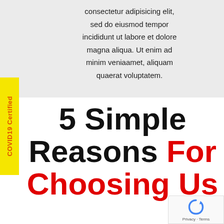consectetur adipisicing elit, sed do eiusmod tempor incididunt ut labore et dolore magna aliqua. Ut enim ad minim veniaamet, aliquam quaerat voluptatem.
COVID19 Certified
5 Simple Reasons For Choosing Us